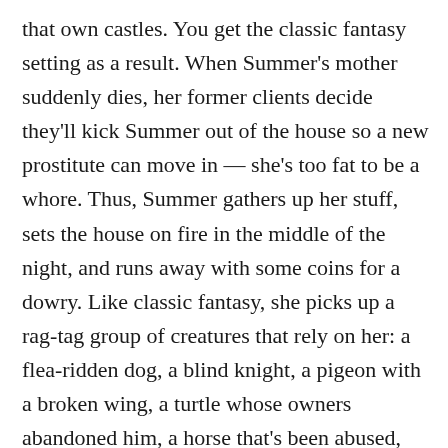that own castles. You get the classic fantasy setting as a result. When Summer's mother suddenly dies, her former clients decide they'll kick Summer out of the house so a new prostitute can move in — she's too fat to be a whore. Thus, Summer gathers up her stuff, sets the house on fire in the middle of the night, and runs away with some coins for a dowry. Like classic fantasy, she picks up a rag-tag group of creatures that rely on her: a flea-ridden dog, a blind knight, a pigeon with a broken wing, a turtle whose owners abandoned him, a horse that's been abused, and a runty pig . . . with wings. The entire book is